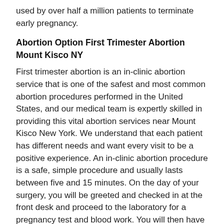used by over half a million patients to terminate early pregnancy.
Abortion Option First Trimester Abortion Mount Kisco NY
First trimester abortion is an in-clinic abortion service that is one of the safest and most common abortion procedures performed in the United States, and our medical team is expertly skilled in providing this vital abortion services near Mount Kisco New York. We understand that each patient has different needs and want every visit to be a positive experience. An in-clinic abortion procedure is a safe, simple procedure and usually lasts between five and 15 minutes. On the day of your surgery, you will be greeted and checked in at the front desk and proceed to the laboratory for a pregnancy test and blood work. You will then have a sonogram to accurately determine the length of your pregnancy. Once we determine how long you have been pregnant, you will